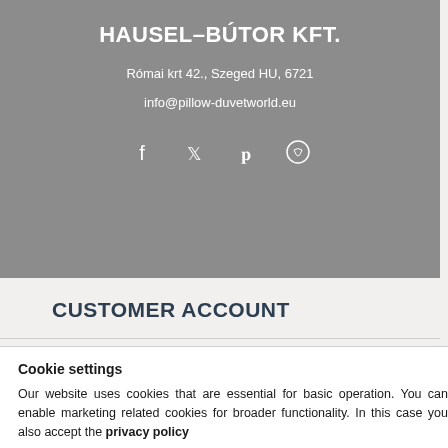HAUSEL–BÚTOR KFT.
Római krt 42., Szeged HU, 6721
info@pillow-duvetworld.eu
[Figure (other): Social media icons: Facebook, Twitter, Pinterest, and a cookie/settings icon]
CUSTOMER ACCOUNT
Cookie settings
Our website uses cookies that are essential for basic operation. You can enable marketing related cookies for broader functionality. In this case you also accept the privacy policy
I don´t agree | I AGREE